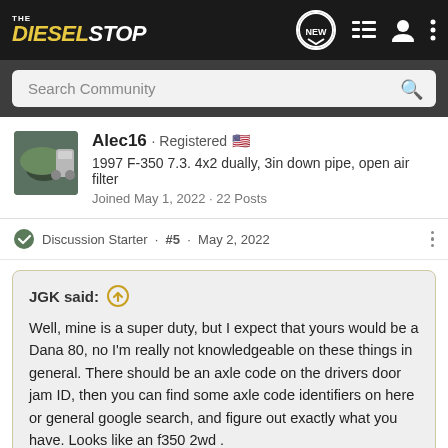THE DIESELSTOP
Search Community
Alec16 · Registered
1997 F-350 7.3. 4x2 dually, 3in down pipe, open air filter
Joined May 1, 2022 · 22 Posts
Discussion Starter · #5 · May 2, 2022
JGK said:
Well, mine is a super duty, but I expect that yours would be a Dana 80, no I'm really not knowledgeable on these things in general. There should be an axle code on the drivers door jam ID, then you can find some axle code identifiers on here or general google search, and figure out exactly what you have. Looks like an f350 2wd .
The most knowledgeable guys on here often will not respond to a
Click to expand...